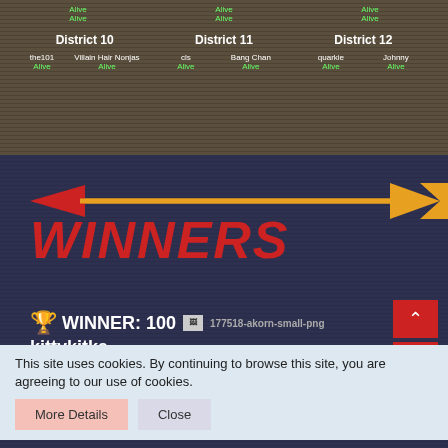[Figure (screenshot): District grid showing District 10, District 11, District 12 with tribute names and Alive status labels]
[Figure (illustration): Arrow graphic pointing left in red, with orange arrow body and arrowhead pointing right]
WINNERS
🏆 WINNER: 100 [177518-akorn-small-png] kittykitka
🖊 MOST KILLS: 50 [177518-akorn-small-png]
This site uses cookies. By continuing to browse this site, you are agreeing to our use of cookies.